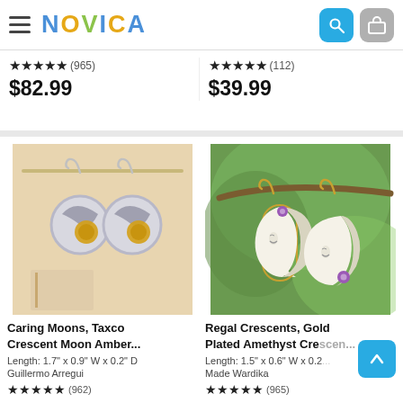NOVICA
★★★★★ (965)
$82.99
★★★★★ (112)
$39.99
[Figure (photo): Silver crescent moon earrings with amber stone centers hanging on a display bar]
[Figure (photo): Gold plated crescent moon earrings with amethyst stones hanging on a branch]
Caring Moons, Taxco Crescent Moon Amber...
Length: 1.7" x 0.9" W x 0.2" D
Guillermo Arregui
★★★★★ (962)
Regal Crescents, Gold Plated Amethyst Crescent...
Length: 1.5" x 0.6" W x 0.2...
Made Wardika
★★★★★ (965)